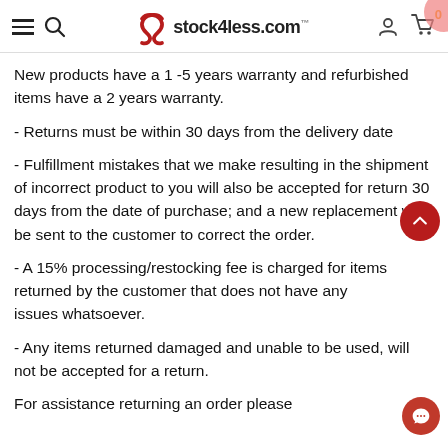stock4less.com
New products have a 1 -5 years warranty and refurbished items have a 2 years warranty.
- Returns must be within 30 days from the delivery date
- Fulfillment mistakes that we make resulting in the shipment of incorrect product to you will also be accepted for return 30 days from the date of purchase; and a new replacement will be sent to the customer to correct the order.
- A 15% processing/restocking fee is charged for items returned by the customer that does not have any issues whatsoever.
- Any items returned damaged and unable to be used, will not be accepted for a return.
For assistance returning an order please